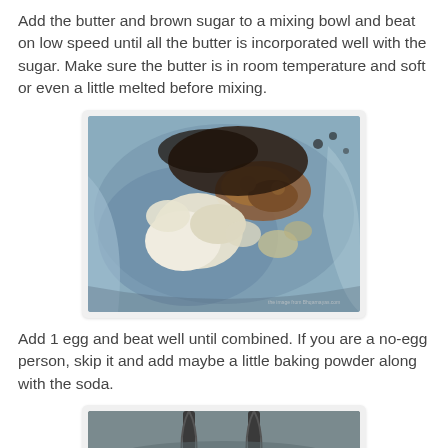Add the butter and brown sugar to a mixing bowl and beat on low speed until all the butter is incorporated well with the sugar. Make sure the butter is in room temperature and soft or even a little melted before mixing.
[Figure (photo): A mixing bowl containing chunks of butter and brown sugar before mixing.]
Add 1 egg and beat well until combined. If you are a no-egg person, skip it and add maybe a little baking powder along with the soda.
[Figure (photo): A mixing bowl with a whisk or beater, partially visible at the bottom of the page.]